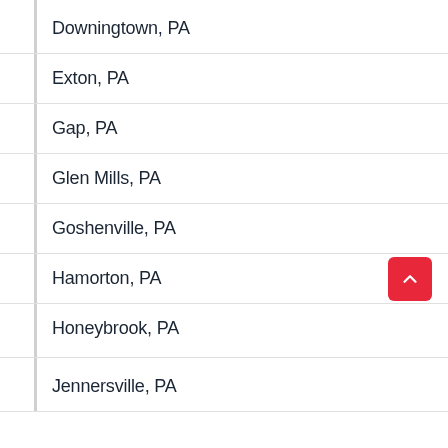Downingtown, PA
Exton, PA
Gap, PA
Glen Mills, PA
Goshenville, PA
Hamorton, PA
Honeybrook, PA
Jennersville, PA